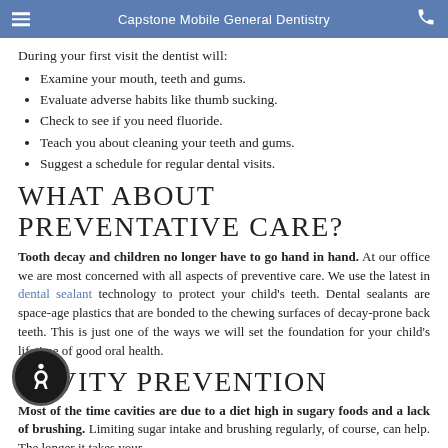Capstone Mobile General Dentistry
During your first visit the dentist will:
Examine your mouth, teeth and gums.
Evaluate adverse habits like thumb sucking.
Check to see if you need fluoride.
Teach you about cleaning your teeth and gums.
Suggest a schedule for regular dental visits.
WHAT ABOUT PREVENTATIVE CARE?
Tooth decay and children no longer have to go hand in hand. At our office we are most concerned with all aspects of preventive care. We use the latest in dental sealant technology to protect your child’s teeth. Dental sealants are space-age plastics that are bonded to the chewing surfaces of decay-prone back teeth. This is just one of the ways we will set the foundation for your child’s lifetime of good oral health.
CAVITY PREVENTION
Most of the time cavities are due to a diet high in sugary foods and a lack of brushing. Limiting sugar intake and brushing regularly, of course, can help. The longer it takes your